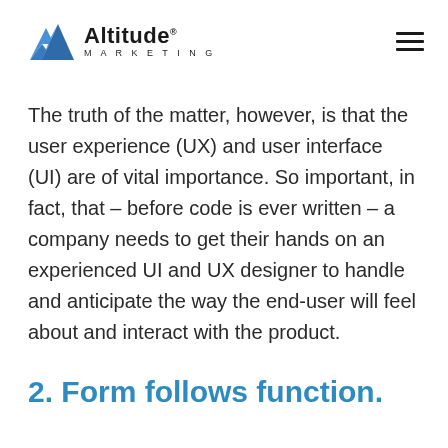Altitude Marketing
The truth of the matter, however, is that the user experience (UX) and user interface (UI) are of vital importance. So important, in fact, that – before code is ever written – a company needs to get their hands on an experienced UI and UX designer to handle and anticipate the way the end-user will feel about and interact with the product.
2. Form follows function.